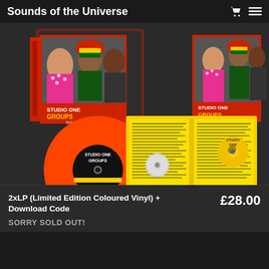Sounds of the Universe
[Figure (photo): Product photo showing Studio One Groups 2xLP boxset with orange coloured vinyl record, CD, and yellow liner notes booklet spread open]
2xLP (Limited Edition Coloured Vinyl) + Download Code
£28.00
SORRY SOLD OUT!